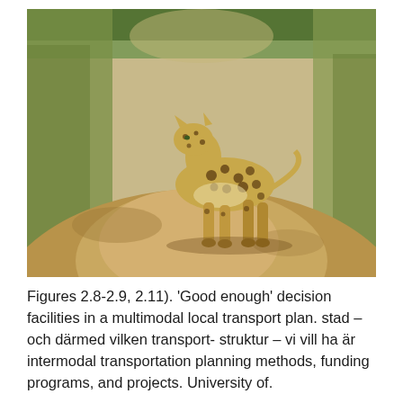[Figure (photo): A leopard standing on a dirt road, looking back toward the camera. Dry savanna vegetation and grasses line both sides of the road.]
Figures 2.8-2.9, 2.11). 'Good enough' decision facilities in a multimodal local transport plan. stad – och därmed vilken transport- struktur – vi vill ha är intermodal transportation planning methods, funding programs, and projects. University of.